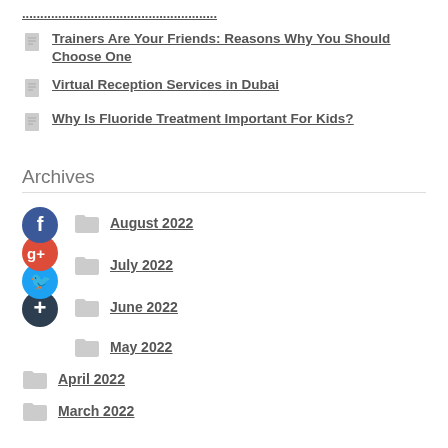Trainers Are Your Friends: Reasons Why You Should Choose One
Virtual Reception Services in Dubai
Why Is Fluoride Treatment Important For Kids?
Archives
August 2022
July 2022
June 2022
May 2022
April 2022
March 2022